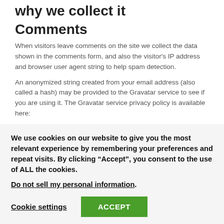why we collect it
Comments
When visitors leave comments on the site we collect the data shown in the comments form, and also the visitor's IP address and browser user agent string to help spam detection.
An anonymized string created from your email address (also called a hash) may be provided to the Gravatar service to see if you are using it. The Gravatar service privacy policy is available here:
We use cookies on our website to give you the most relevant experience by remembering your preferences and repeat visits. By clicking “Accept”, you consent to the use of ALL the cookies.
Do not sell my personal information.
Cookie settings
ACCEPT